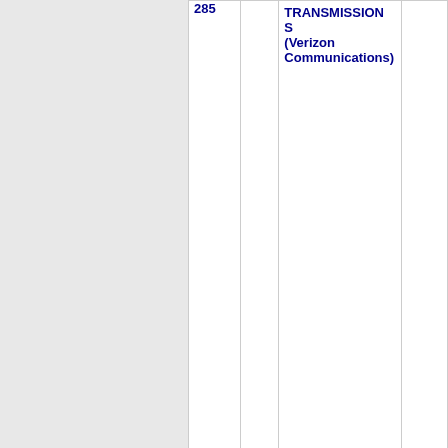| NPA-NXX | ST | Company | LATA |
| --- | --- | --- | --- |
| 285 | CA | TRANSMISSION S (Verizon Communications) | 7240 |
| Thousands block for 510-285 |  |  |  |
| 510-285-0 | CA | MCIMETRO ACCESS TRANSMISSION S (Verizon Communications) | 7240 |
| 510- | CA | MCIMETRO ACCESS | 7240 |